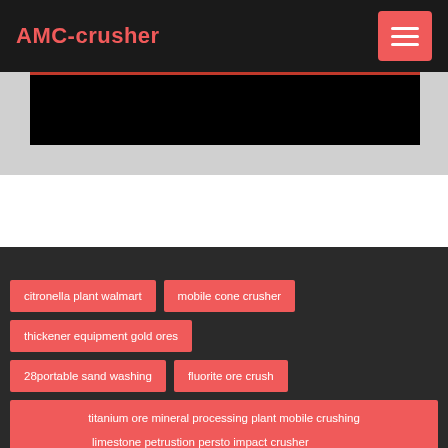AMC-crusher
[Figure (screenshot): Black video/image area with red top border line]
citronella plant walmart
mobile cone crusher
thickener equipment gold ores
28portable sand washing
fluorite ore crush
titanium ore mineral processing plant mobile crushing plant for sale
limestone petrustion persto impact crusher